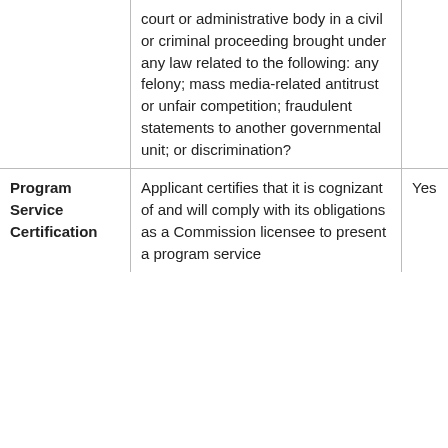|  |  |  |
| --- | --- | --- |
|  | court or administrative body in a civil or criminal proceeding brought under any law related to the following: any felony; mass media-related antitrust or unfair competition; fraudulent statements to another governmental unit; or discrimination? |  |
| Program Service Certification | Applicant certifies that it is cognizant of and will comply with its obligations as a Commission licensee to present a program service | Yes |